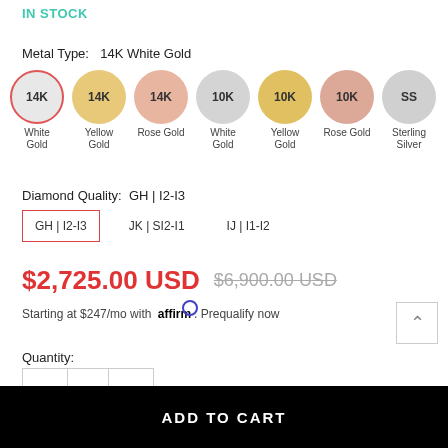IN STOCK
Metal Type:  14K White Gold
[Figure (other): Seven circular metal type swatches: 14K White Gold (selected, red border), 14K Yellow Gold, 14K Rose Gold, 10K White Gold, 10K Yellow Gold, 10K Rose Gold, Sterling Silver]
Diamond Quality:  GH | I2-I3
GH | I2-I3  JK | SI2-I1  IJ | I1-I2
$2,725.00 USD  $6,900.00 USD
Starting at $247/mo with affirm. Prequalify now
Quantity:
1
ADD TO CART